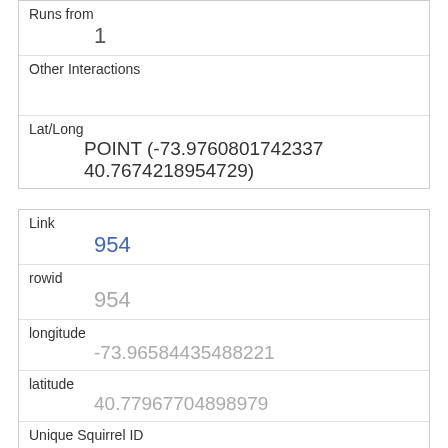| Field | Value |
| --- | --- |
| Runs from | 1 |
| Other Interactions |  |
| Lat/Long | POINT (-73.9760801742337 40.7674218954729) |
| Field | Value |
| --- | --- |
| Link | 954 |
| rowid | 954 |
| longitude | -73.96584435488221 |
| latitude | 40.77967704898979 |
| Unique Squirrel ID | 19F-AM-1007-03 |
| Hectare | 19F |
| Shift | AM |